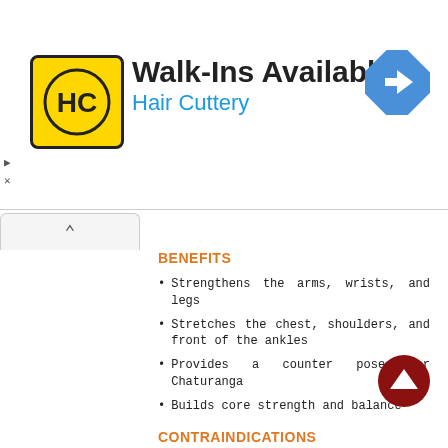[Figure (other): Hair Cuttery advertisement banner with logo showing HC initials in yellow circle and black border, Walk-Ins Available heading, Hair Cuttery subtitle in blue, and a blue diamond navigation arrow icon on the right]
BENEFITS
Strengthens the arms, wrists, and legs
Stretches the chest, shoulders, and front of the ankles
Provides a counter pose for Chaturanga
Builds core strength and balance
CONTRAINDICATIONS
Wrist injuries, such as a recent surgery
Carpal tunnel syndrome
Slipped discs and other spinal pathologies